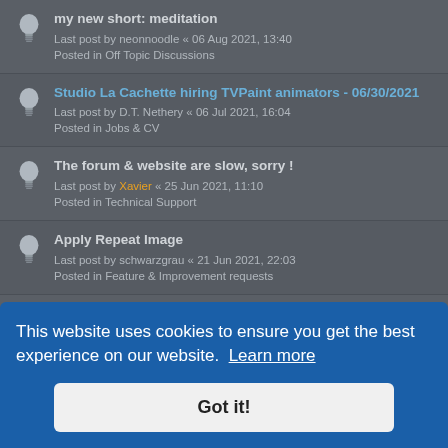my new short: meditation — Last post by neonnoodle « 06 Aug 2021, 13:40 — Posted in Off Topic Discussions
Studio La Cachette hiring TVPaint animators - 06/30/2021 — Last post by D.T. Nethery « 06 Jul 2021, 16:04 — Posted in Jobs & CV
The forum & website are slow, sorry ! — Last post by Xavier « 25 Jun 2021, 11:10 — Posted in Technical Support
Apply Repeat Image — Last post by schwarzgrau « 21 Jun 2021, 22:03 — Posted in Feature & Improvement requests
Lupus Films are looking for Animators — Last post by D.T. Nethery « 14 Jun 2021, 14:47 — Posted in Jobs & CV
This website uses cookies to ensure you get the best experience on our website. Learn more
Got it!
Posted in Off Topic Discussions